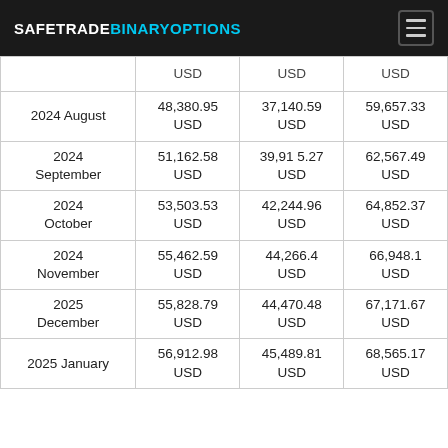SAFETRADEBINARYOPTIONS
|  | USD | USD | USD |
| --- | --- | --- | --- |
| 2024 August | 48,380.95 USD | 37,140.59 USD | 59,657.33 USD |
| 2024 September | 51,162.58 USD | 39,915.27 USD | 62,567.49 USD |
| 2024 October | 53,503.53 USD | 42,244.96 USD | 64,852.37 USD |
| 2024 November | 55,462.59 USD | 44,266.4 USD | 66,948.1 USD |
| 2025 December | 55,828.79 USD | 44,470.48 USD | 67,171.67 USD |
| 2025 January | 56,912.98 USD | 45,489.81 USD | 68,565.17 USD |